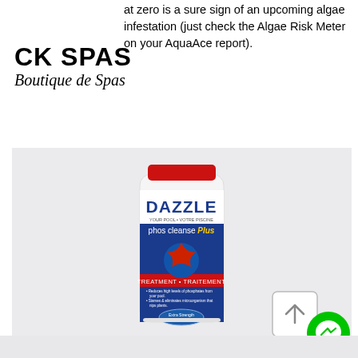at zero is a sure sign of an upcoming algae infestation (just check the Algae Risk Meter on your AquaAce report).
CK SPAS
Boutique de Spas
[Figure (photo): Product photo of Dazzle Phos Cleanse Plus pool treatment bottle on a light gray background]
[Figure (other): Shopping cart icon with 0 items]
[Figure (other): Scroll to top arrow button]
[Figure (other): Facebook Messenger chat button (green circle with white lightning bolt)]